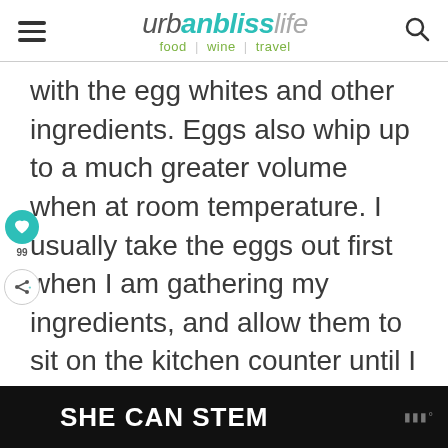urban bliss life — food | wine | travel
with the egg whites and other ingredients. Eggs also whip up to a much greater volume when at room temperature. I usually take the eggs out first when I am gathering my ingredients, and allow them to sit on the kitchen counter until I am ready to incorporate them.
[Figure (other): SHE CAN STEM advertisement banner with dark background]